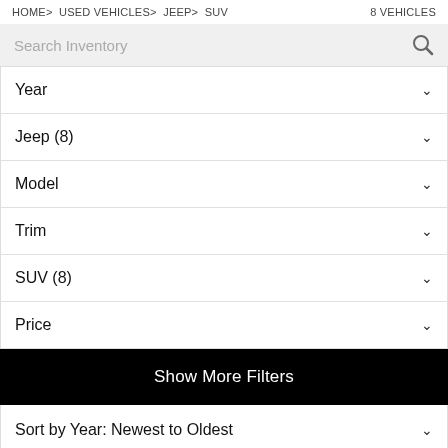HOME > USED VEHICLES > JEEP > SUV    8 VEHICLES
Search Inventory
Year
Jeep (8)
Model
Trim
SUV (8)
Price
Show More Filters
Sort by Year: Newest to Oldest
JEEP (8)  x   SUV  ...  LL   Chat with Sales